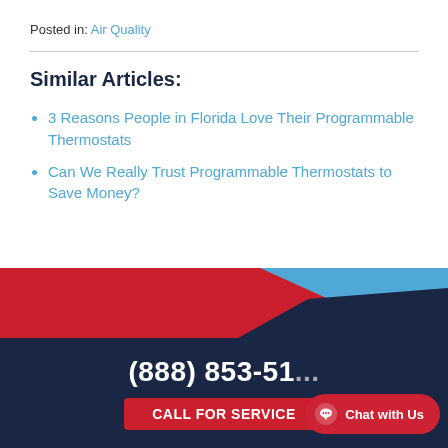Posted in: Air Quality
Similar Articles:
3 Reasons People in Florida Love Their Programmable Thermostats
Can We Really Trust Programmable Thermostats to Save Money?
[Figure (illustration): Decorative banner with overlapping red, blue, and dark navy diagonal shapes]
(888) 853-51...
Chat with Us